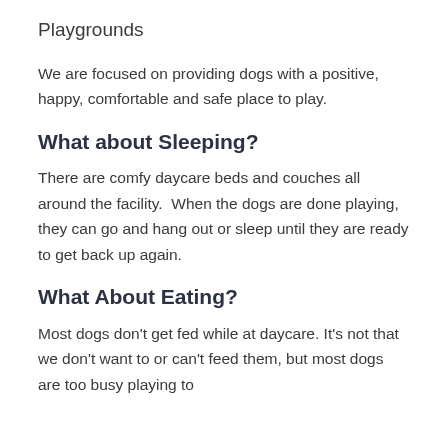Playgrounds
We are focused on providing dogs with a positive, happy, comfortable and safe place to play.
What about Sleeping?
There are comfy daycare beds and couches all around the facility.  When the dogs are done playing, they can go and hang out or sleep until they are ready to get back up again.
What About Eating?
Most dogs don't get fed while at daycare. It's not that we don't want to or can't feed them, but most dogs are too busy playing to